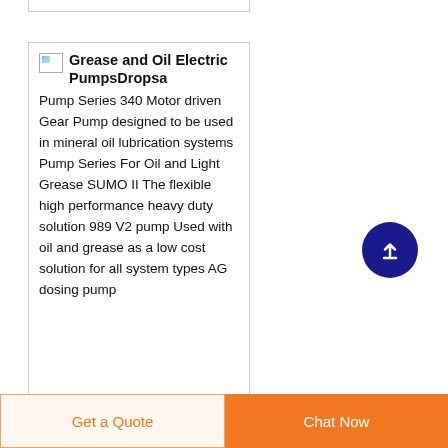[Figure (other): Product card with small broken image icon and bold title 'Grease and Oil Electric PumpsDropsa' followed by descriptive text about pump series products.]
Pump Series 340 Motor driven Gear Pump designed to be used in mineral oil lubrication systems Pump Series For Oil and Light Grease SUMO II The flexible high performance heavy duty solution 989 V2 pump Used with oil and grease as a low cost solution for all system types AG dosing pump
Get a Quote
Chat Now